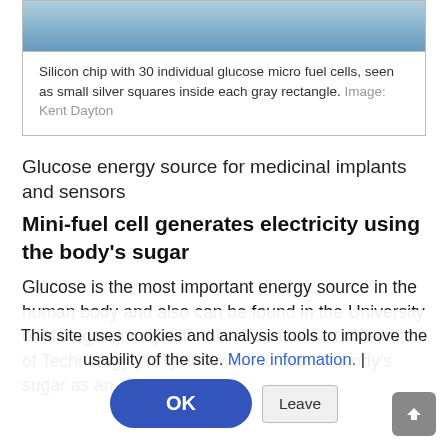[Figure (photo): Top portion of a silicon chip photograph, showing blue-gray tones, partially cropped]
Silicon chip with 30 individual glucose micro fuel cells, seen as small silver squares inside each gray rectangle. Image: Kent Dayton
Glucose energy source for medicinal implants and sensors
Mini-fuel cell generates electricity using the body's sugar
Glucose is the most important energy source in the human body and also can be found in the University of Michigan jointly with the Massachusetts Institute of Technology (MIT) now want to use the body's sugar as an energy
This site uses cookies and analysis tools to improve the usability of the site. More information. |
OK
Leave